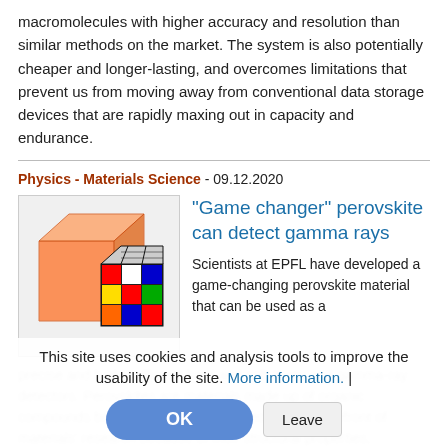macromolecules with higher accuracy and resolution than similar methods on the market. The system is also potentially cheaper and longer-lasting, and overcomes limitations that prevent us from moving away from conventional data storage devices that are rapidly maxing out in capacity and endurance.
Physics - Materials Science - 09.12.2020
[Figure (photo): Two cube objects side by side: a large transparent orange/red cube and a smaller Rubik's-style cube with colored squares on a white background.]
"Game changer" perovskite can detect gamma rays
Scientists at EPFL have developed a game-changing perovskite material that can be used as a
precise and highly efficient hard and soft X-ray and gamma-ray detectors. Perovskites are materials made up of organic compounds bound to a metal. Propelled into the forefront of materials' research because of their structural properties, perovskites are earmarked for a wide range of applications, including in solar cells, LED lights, lasers, and photodetectors
This site uses cookies and analysis tools to improve the usability of the site. More information. |
OK
Leave